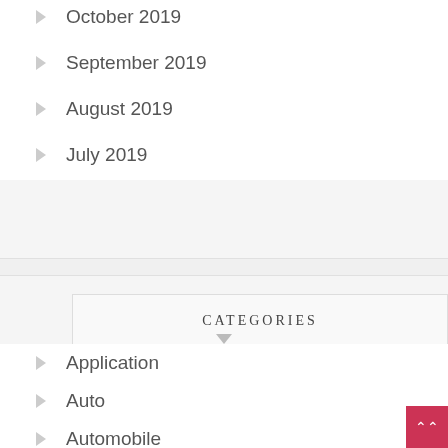October 2019
September 2019
August 2019
July 2019
CATEGORIES
Application
Auto
Automobile
Beauty